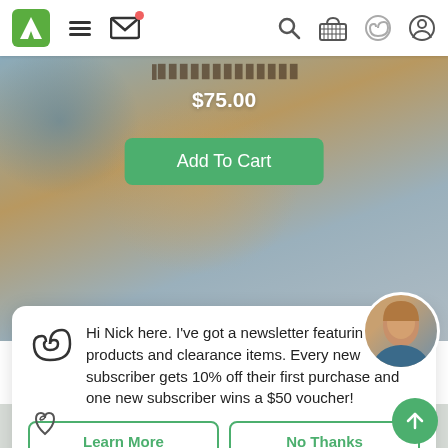[Figure (screenshot): Mobile app navigation bar with logo, hamburger menu, mail icon with notification dot, search, cart, spiral icon, and person icon]
[Figure (screenshot): Product page hero area with blurred outdoor background, price $75.00, Add To Cart green button, and carousel dots]
$75.00
Add To Cart
[Figure (photo): Circular avatar photo of a man (Nick)]
Hi Nick here. I've got a newsletter featuring new products and clearance items. Every new subscriber gets 10% off their first purchase and one new subscriber wins a $50 voucher!
Learn More
No Thanks
Pu
Gui